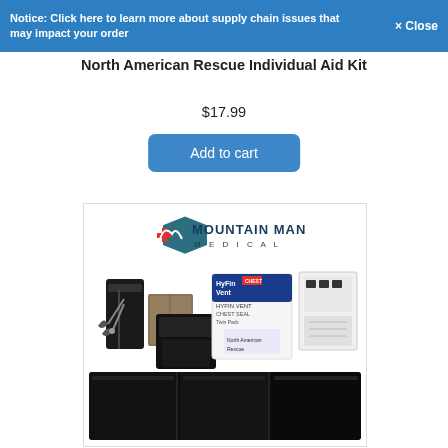Notice: Click here to learn more about supply chain issues that may impact your order   × Close
North American Rescue Individual Aid Kit
$17.99
Add to cart
[Figure (photo): Mountain Man Medical product photo showing an Individual Aid Kit with scissors, tourniquet pouch, HyFin Vent chest seal, additional medical supplies, and a black carrying pouch.]